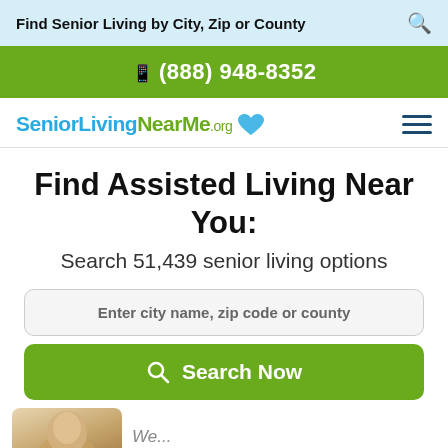Find Senior Living by City, Zip or County
(888) 948-8352
[Figure (logo): SeniorLivingNearMe.org logo with blue and green colors and a heart icon]
Find Assisted Living Near You:
Search 51,439 senior living options
Enter city name, zip code or county
Search Now
[Figure (photo): Partial photo of a senior person at bottom left]